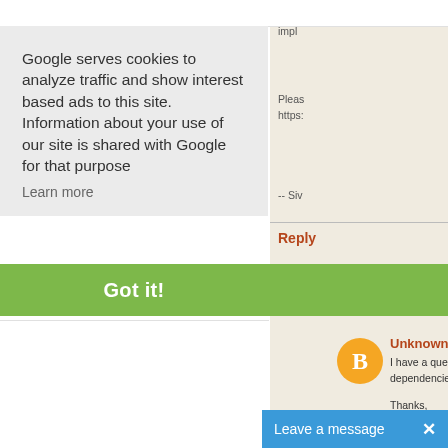Google serves cookies to analyze traffic and show interest based ads to this site. Information about your use of our site is shared with Google for that purpose
Learn more
Got it!
I thin impl
Pleas https:
-- Siv
Reply
[Figure (illustration): Orange circle avatar with letter B]
Unknown Jan
I have a quest matter whethe dependencies.
Thanks,
Scott
Reply
Leave a message